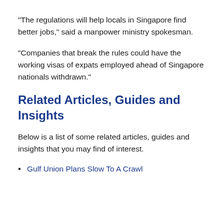“The regulations will help locals in Singapore find better jobs,” said a manpower ministry spokesman.
“Companies that break the rules could have the working visas of expats employed ahead of Singapore nationals withdrawn.”
Related Articles, Guides and Insights
Below is a list of some related articles, guides and insights that you may find of interest.
Gulf Union Plans Slow To A Crawl